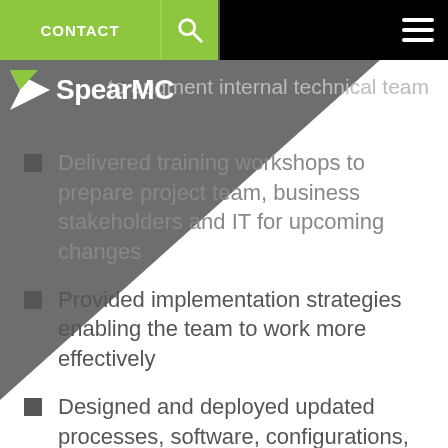CONTACT
[Figure (logo): SpearMC logo with white arrow/paper plane icon and white text 'SpearMC' on dark background]
to augment internal technical team
Delivered training workshops to prepare project team, business stakeholders and IT for upcoming changes
Provided implementation strategies enabling the team to work more effectively
Designed and deployed updated processes, software, configurations, features and functionality